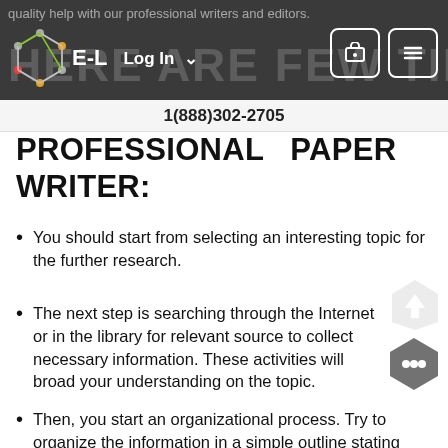E-L  Log In  1(888)302-2705
PROFESSIONAL PAPER WRITER:
You should start from selecting an interesting topic for the further research.
The next step is searching through the Internet or in the library for relevant source to collect necessary information. These activities will broad your understanding on the topic.
Then, you start an organizational process. Try to organize the information in a simple outline stating clearly your thesis. This is a crucial process that affects all further writing.
You use the outline to write your first draft. On this stage you just simply write all your thoughts and